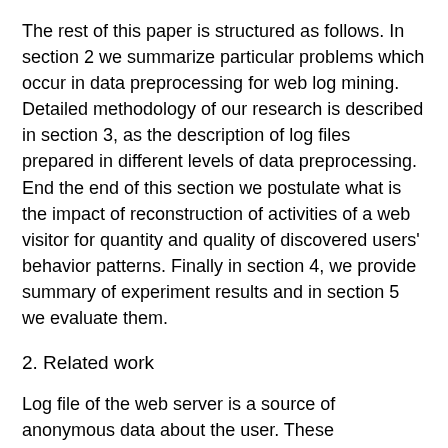The rest of this paper is structured as follows. In section 2 we summarize particular problems which occur in data preprocessing for web log mining. Detailed methodology of our research is described in section 3, as the description of log files prepared in different levels of data preprocessing. End the end of this section we postulate what is the impact of reconstruction of activities of a web visitor for quantity and quality of discovered users' behavior patterns. Finally in section 4, we provide summary of experiment results and in section 5 we evaluate them.
2. Related work
Log file of the web server is a source of anonymous data about the user. These anonymous data represent also the problem of unique identification of the web visitor. Reconstruction of activities of each visitor is demanding. Currently it is common that several users share a common IP address, whether they are situated under a certain NAT (Network Address Translation), or proxy equipment. Authentication mechanisms can facilitate identification